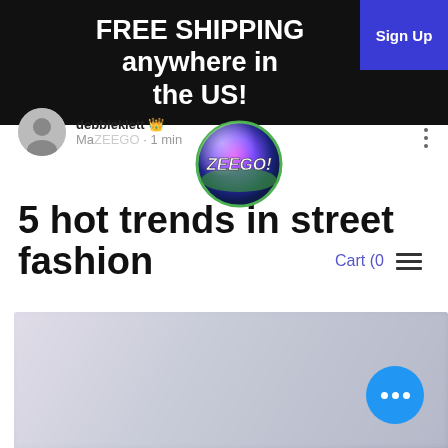FREE SHIPPING anywhere in the US!
Sign Up
debbieklett 👑
May · 1 min
[Figure (logo): Zeego logo — colorful sphere with text 'ZEEGO!' in white italic font]
5 hot trends in street fashion
Cart (0)
Create a blog post subtitle that summarizes your post in a few short, punchy sentences and entices your audience to continue reading.
[Figure (photo): Blurred/out-of-focus street fashion photo at bottom of page]